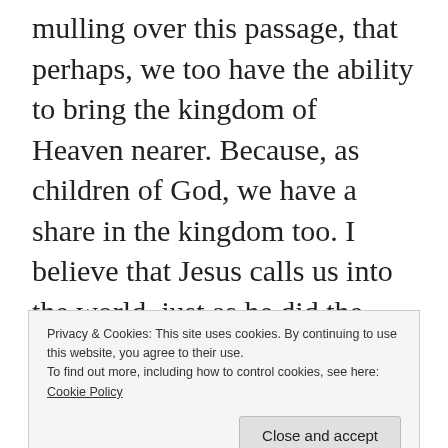was mulling over this passage, that perhaps, we too have the ability to bring the kingdom of Heaven nearer.  Because, as children of God, we have a share in the kingdom too.  I believe that Jesus calls us into the world, just as he did the disciples, to bring the kingdom of Heaven nearer to humanity.  I believe that we are called to go into this dark,
Privacy & Cookies: This site uses cookies. By continuing to use this website, you agree to their use.
To find out more, including how to control cookies, see here:
Cookie Policy
Close and accept
who had need.